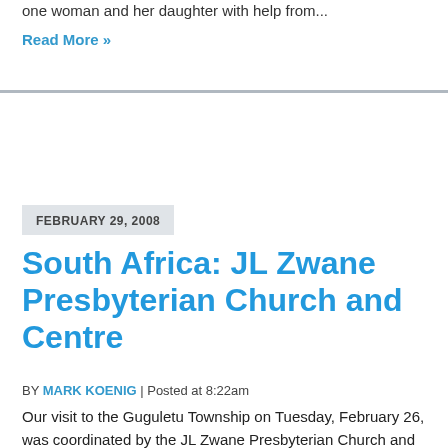one woman and her daughter with help from...
Read More »
FEBRUARY 29, 2008
South Africa: JL Zwane Presbyterian Church and Centre
BY MARK KOENIG | Posted at 8:22am
Our visit to the Guguletu Township on Tuesday, February 26, was coordinated by the JL Zwane Presbyterian Church and Centre. The Rev. Edwin Louw, Associate Pastor, Ms. Yvonne Daki,